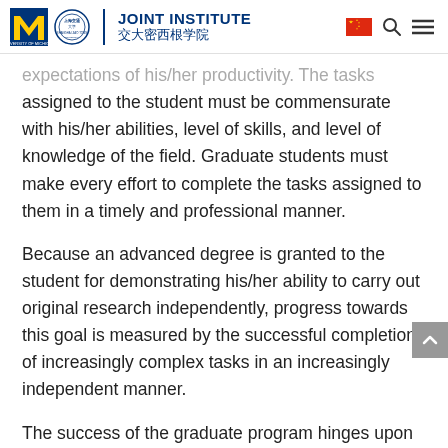JOINT INSTITUTE 交大密西根学院
expectations of his/her productivity. The tasks assigned to the student must be commensurate with his/her abilities, level of skills, and level of knowledge of the field. Graduate students must make every effort to complete the tasks assigned to them in a timely and professional manner.
Because an advanced degree is granted to the student for demonstrating his/her ability to carry out original research independently, progress towards this goal is measured by the successful completion of increasingly complex tasks in an increasingly independent manner.
The success of the graduate program hinges upon